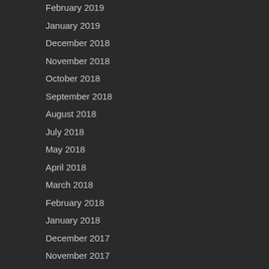February 2019
January 2019
December 2018
November 2018
October 2018
September 2018
August 2018
July 2018
May 2018
April 2018
March 2018
February 2018
January 2018
December 2017
November 2017